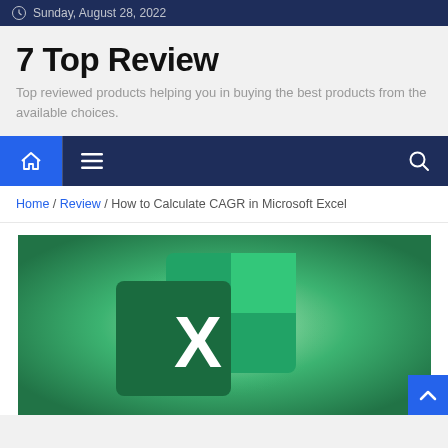Sunday, August 28, 2022
7 Top Review
Top reviewed products helping you in buying the best products from the available choices.
[Figure (other): Navigation bar with home icon, hamburger menu icon, and search icon]
Home / Review / How to Calculate CAGR in Microsoft Excel
[Figure (photo): Microsoft Excel logo on a green gradient background, showing a large white X on dark green squares]